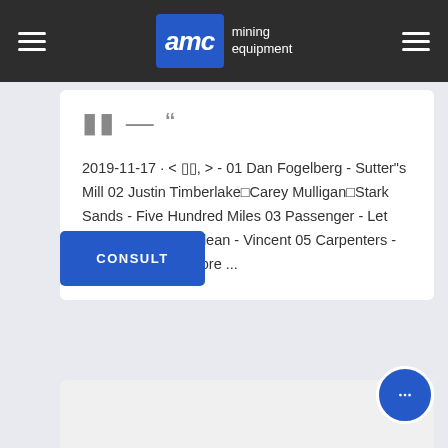AMC mining equipment
2019-11-17 · < , > - 01 Dan Fogelberg - Sutter"s Mill 02 Justin Timberlake​Carey Mulligan​Stark Sands - Five Hundred Miles 03 Passenger - Let Her Go 04 Don Mclean - Vincent 05 Carpenters - Yesterday Once More ...
CONSULT